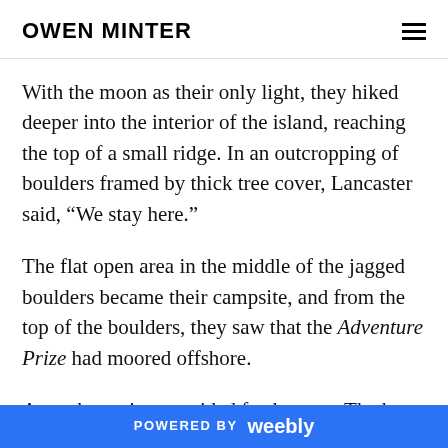OWEN MINTER
With the moon as their only light, they hiked deeper into the interior of the island, reaching the top of a small ridge. In an outcropping of boulders framed by thick tree cover, Lancaster said, “We stay here.”
The flat open area in the middle of the jagged boulders became their campsite, and from the top of the boulders, they saw that the Adventure Prize had moored offshore.
A nearby spring provided fresh water. The boys gathered firewood and built a lean-to for
POWERED BY weebly